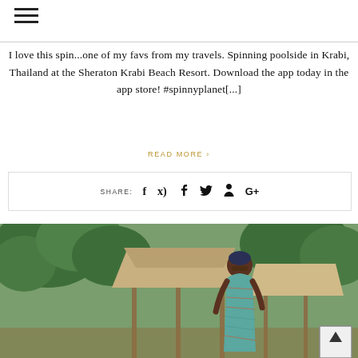[Figure (other): Hamburger menu icon (three horizontal bars)]
I love this spin...one of my favs from my travels. Spinning poolside in Krabi, Thailand at the Sheraton Krabi Beach Resort. Download the app today in the app store! #spinnyplanet[...]
READ MORE ›
SHARE: f ✦ ♦ G+
[Figure (photo): Woman wearing a patterned strapless outfit and head covering, standing outdoors near tropical thatched-roof huts and lush green trees.]